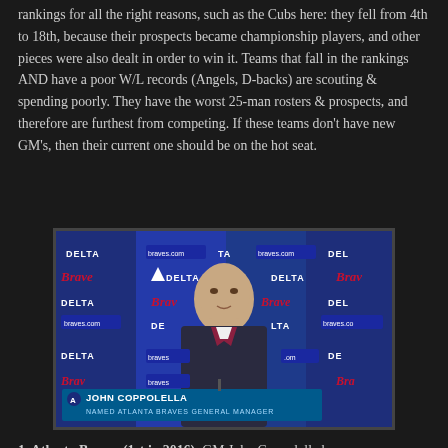rankings for all the right reasons, such as the Cubs here: they fell from 4th to 18th, because their prospects became championship players, and other pieces were also dealt in order to win it. Teams that fall in the rankings AND have a poor W/L records (Angels, D-backs) are scouting & spending poorly. They have the worst 25-man rosters & prospects, and therefore are furthest from competing. If these teams don't have new GM's, then their current one should be on the hot seat.
[Figure (photo): Press conference photo of John Coppolella with Delta and Atlanta Braves sponsor banners in background. Lower-third graphic reads: JOHN COPPOLELLA / NAMED ATLANTA BRAVES GENERAL MANAGER]
1. Atlanta Braves (1st in 2016); GM John Coppolella has